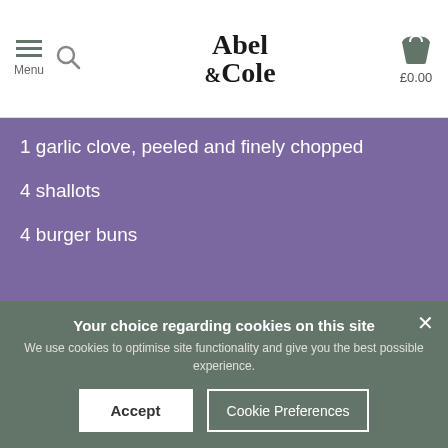Abel & Cole | Menu | £0.00
1 garlic clove, peeled and finely chopped
4 shallots
4 burger buns
Prep: 10 mins | Cook:10 mins
Your choice regarding cookies on this site
We use cookies to optimise site functionality and give you the best possible experience.
Accept
Cookie Preferences